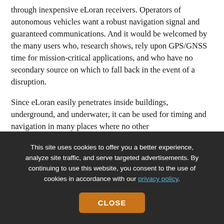through inexpensive eLoran receivers. Operators of autonomous vehicles want a robust navigation signal and guaranteed communications. And it would be welcomed by the many users who, research shows, rely upon GPS/GNSS time for mission-critical applications, and who have no secondary source on which to fall back in the event of a disruption.
Since eLoran easily penetrates inside buildings, underground, and underwater, it can be used for timing and navigation in many places where no other
This site uses cookies to offer you a better experience, analyze site traffic, and serve targeted advertisements. By continuing to use this website, you consent to the use of cookies in accordance with our privacy policy.